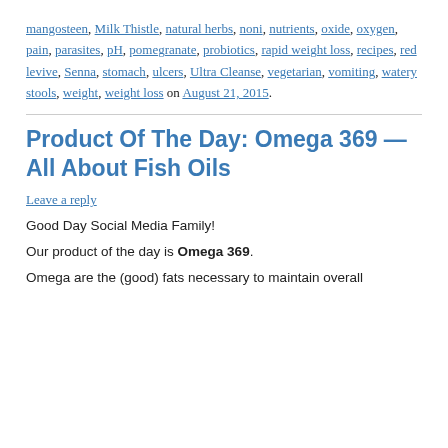mangosteen, Milk Thistle, natural herbs, noni, nutrients, oxide, oxygen, pain, parasites, pH, pomegranate, probiotics, rapid weight loss, recipes, red levive, Senna, stomach, ulcers, Ultra Cleanse, vegetarian, vomiting, watery stools, weight, weight loss on August 21, 2015.
Product Of The Day: Omega 369 — All About Fish Oils
Leave a reply
Good Day Social Media Family!
Our product of the day is Omega 369.
Omega are the (good) fats necessary to maintain overall